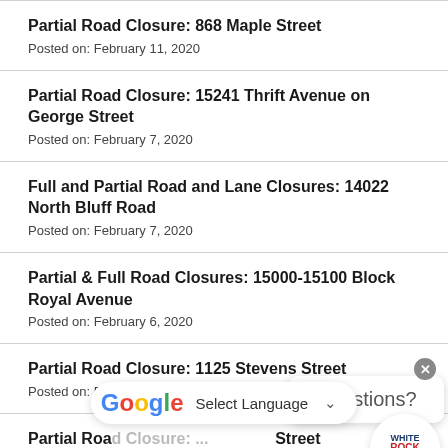Partial Road Closure: 868 Maple Street
Posted on: February 11, 2020
Partial Road Closure: 15241 Thrift Avenue on George Street
Posted on: February 7, 2020
Full and Partial Road and Lane Closures: 14022 North Bluff Road
Posted on: February 7, 2020
Partial & Full Road Closures: 15000-15100 Block Royal Avenue
Posted on: February 6, 2020
Partial Road Closure: 1125 Stevens Street
Posted on: February 6, 2020
Partial Road Closure: [partially obscured] Street
Posted on: February 6, 2020